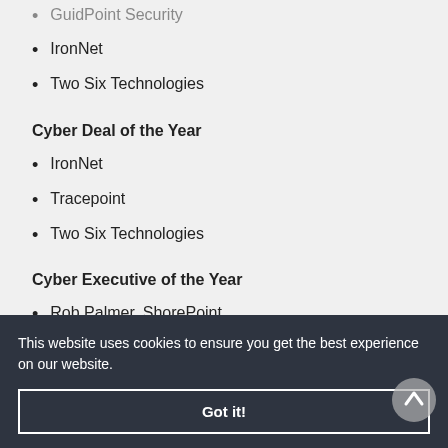GuidPoint Security
IronNet
Two Six Technologies
Cyber Deal of the Year
IronNet
Tracepoint
Two Six Technologies
Cyber Executive of the Year
Rob Palmer, ShorePoint
ShorePoint
This website uses cookies to ensure you get the best experience on our website.
Got it!